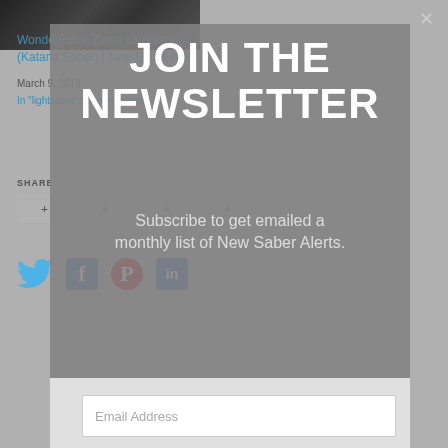[Figure (screenshot): Background image of lightsaber product]
WonderForce Zetsu Lightsaber (Katana Saber) | New Saber Alert
March 9, 2019
In "lightsaber company news"
SHARE
[Figure (screenshot): Newsletter modal overlay with JOIN THE NEWSLETTER heading and subscribe text and email input field]
JOIN THE NEWSLETTER
Subscribe to get emailed a monthly list of New Saber Alerts.
Email Address